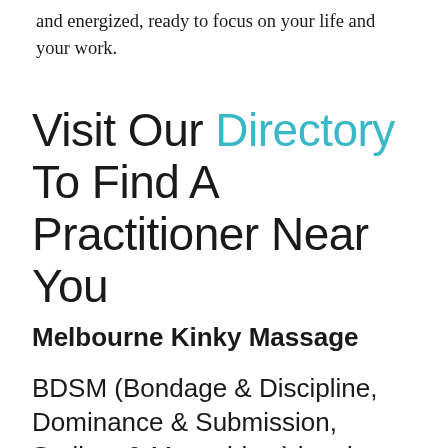and energized, ready to focus on your life and your work.
Visit Our Directory To Find A Practitioner Near You
Melbourne Kinky Massage
BDSM (Bondage & Discipline, Dominance & Submission, Sadism & Masochism) has been kept in the shadows for